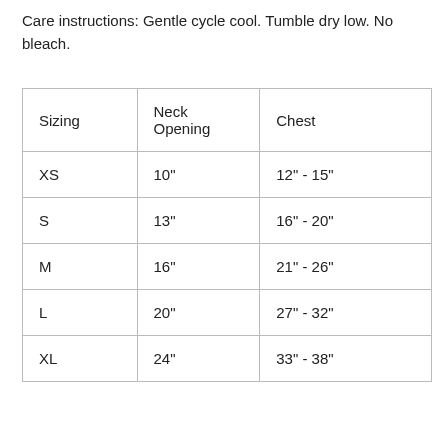Care instructions: Gentle cycle cool. Tumble dry low. No bleach.
| Sizing | Neck Opening | Chest |
| --- | --- | --- |
| XS | 10" | 12" - 15" |
| S | 13" | 16" - 20" |
| M | 16" | 21" - 26" |
| L | 20" | 27" - 32" |
| XL | 24" | 33" - 38" |